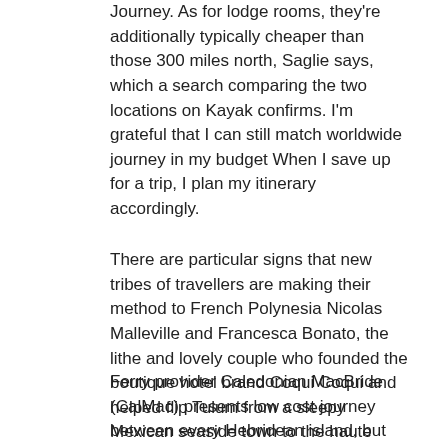Journey. As for lodge rooms, they're additionally typically cheaper than those 300 miles north, Saglie says, which a search comparing the two locations on Kayak confirms. I'm grateful that I can still match worldwide journey in my budget When I save up for a trip, I plan my itinerary accordingly.
There are particular signs that new tribes of travellers are making their method to French Polynesia Nicolas Malleville and Francesca Bonato, the lithe and lovely couple who founded the boutique hotel brand Coqui Coqui and helped flip Tulum from a sleepy Mexican seaside town to the haute hippy utopia it is as we speak, are opening an outpost on Bora Bora just a little later this yr.
Ferry provider Caledonian MacBride (CalMac) presents low cost journey between every Hebridean island, but the experience to the Isle of Barra by airplane is worth it to experience one of the world's most picturesque plane